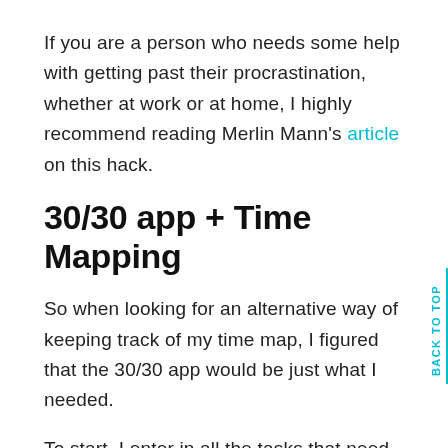If you are a person who needs some help with getting past their procrastination, whether at work or at home, I highly recommend reading Merlin Mann's article on this hack.
30/30 app + Time Mapping
So when looking for an alternative way of keeping track of my time map, I figured that the 30/30 app would be just what I needed.
To start, I enter in all the tasks that need to happen between when I get home from work till when I begin winding down for bed.[^I've [discovered](http://psychocentral.com/lib/12...